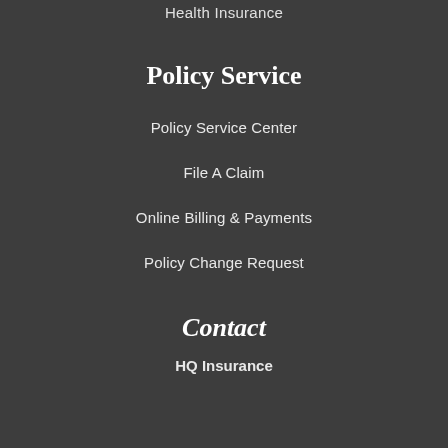Health Insurance
Policy Service
Policy Service Center
File A Claim
Online Billing & Payments
Policy Change Request
Contact
HQ Insurance